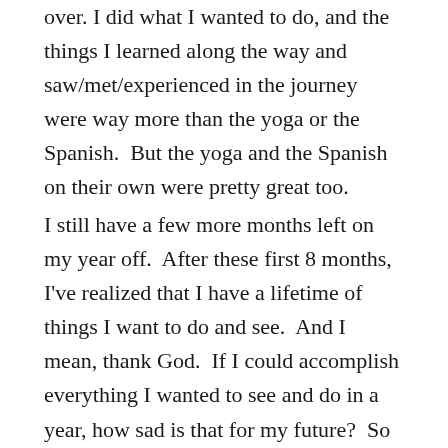over. I did what I wanted to do, and the things I learned along the way and saw/met/experienced in the journey were way more than the yoga or the Spanish. But the yoga and the Spanish on their own were pretty great too.
I still have a few more months left on my year off. After these first 8 months, I've realized that I have a lifetime of things I want to do and see. And I mean, thank God. If I could accomplish everything I wanted to see and do in a year, how sad is that for my future? So for now, it's really hard to decide what I want to do and what I have to save for a later day. I want to explore the United States a lot more. I want to go to Africa and the Middle East. I want to see more of Europe. I want to visit my friends around the country